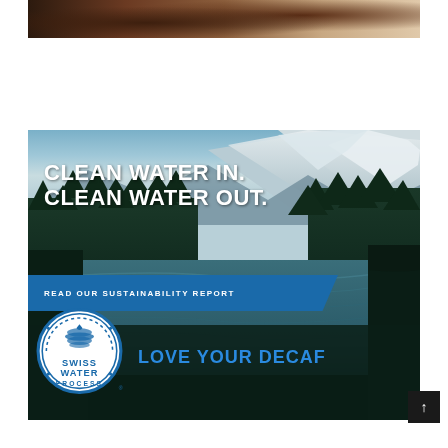[Figure (photo): Partial view of a coffee or chocolate beverage in a cup, cropped at top of page]
[Figure (photo): Swiss Water Process advertisement banner featuring a mountain lake surrounded by pine trees and snow-capped mountains. Text reads: CLEAN WATER IN. CLEAN WATER OUT. READ OUR SUSTAINABILITY REPORT. Swiss Water Process circular logo. LOVE YOUR DECAF.]